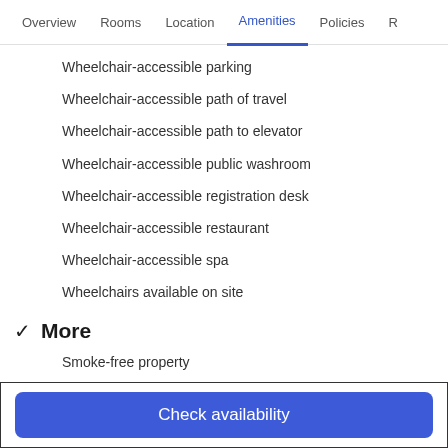Overview | Rooms | Location | Amenities | Policies | R
Wheelchair-accessible parking
Wheelchair-accessible path of travel
Wheelchair-accessible path to elevator
Wheelchair-accessible public washroom
Wheelchair-accessible registration desk
Wheelchair-accessible restaurant
Wheelchair-accessible spa
Wheelchairs available on site
✓ More
Smoke-free property
Room amenities
Check availability